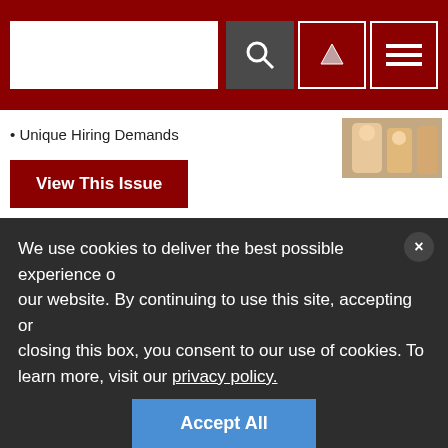Search bar with navigation icons
• Unique Hiring Demands
View This Issue
[Figure (screenshot): ISC West 2023 advertisement banner: Comprehensive Security for a Safer, Connected World. March 28-31, Venetian Expo, Las Vegas. Education: March 28-30. Exhibit Hall: March 29-31. Be the first to know when registration opens at iscwestiscom/preregis.]
We use cookies to deliver the best possible experience on our website. By continuing to use this site, accepting or closing this box, you consent to our use of cookies. To learn more, visit our privacy policy.
Accept All